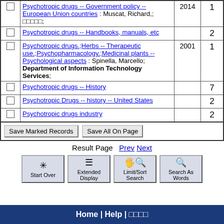|  | Subject | Year | Count |
| --- | --- | --- | --- |
| ☐ | Psychotropic drugs -- Government policy -- European Union countries : Muscat, Richard,; □□□□□; | 2014 | 1 |
| ☐ | Psychotropic drugs -- Handbooks, manuals, etc |  | 2 |
| ☐ | Psychotropic drugs.;Herbs -- Therapeutic use.;Psychopharmacology.;Medicinal plants -- Psychological aspects : Spinella, Marcello; Department of Information Technology Services; | 2001 | 1 |
| ☐ | Psychotropic drugs -- History |  | 7 |
| ☐ | Psychotropic Drugs -- history -- United States |  | 2 |
| ☐ | Psychotropic drugs industry |  | 2 |
Save Marked Records   Save All On Page
Result Page  Prev  Next
Start Over  Extended Display  Limit/Sort Search  Search As Words
Home | Help | □□□□